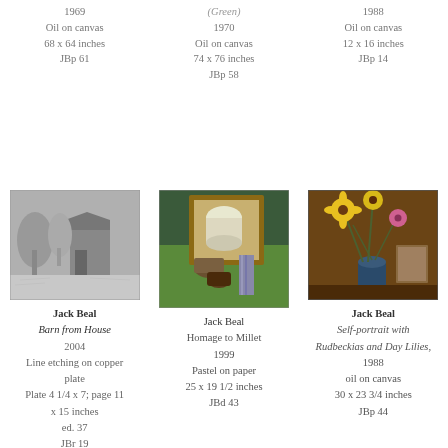1969
Oil on canvas
68 x 64 inches
JBp 61
(Green)
1970
Oil on canvas
74 x 76 inches
JBp 58
1988
Oil on canvas
12 x 16 inches
JBp 14
[Figure (photo): Black and white etching/photo of barn from house, trees and building visible]
Jack Beal
Barn from House
2004
Line etching on copper plate
Plate 4 1/4 x 7; page 11 x 15 inches
ed. 37
JBr 19
[Figure (photo): Color artwork showing Homage to Millet, pastel on paper, still life composition]
Jack Beal
Homage to Millet
1999
Pastel on paper
25 x 19 1/2 inches
JBd 43
[Figure (photo): Color painting of flowers including yellow rudbeckias and day lilies in a vase]
Jack Beal
Self-portrait with Rudbeckias and Day Lilies, 1988
oil on canvas
30 x 23 3/4 inches
JBp 44